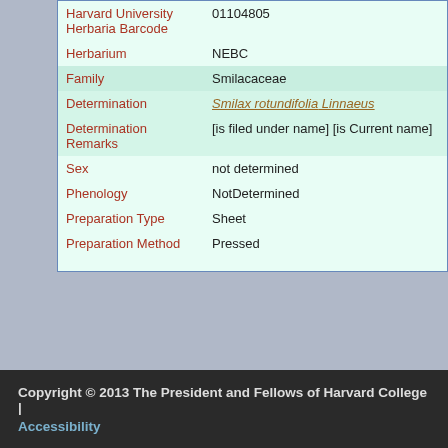| Field | Value |
| --- | --- |
| Harvard University Herbaria Barcode | 01104805 |
| Herbarium | NEBC |
| Family | Smilacaceae |
| Determination | Smilax rotundifolia Linnaeus |
| Determination Remarks | [is filed under name] [is Current name] |
| Sex | not determined |
| Phenology | NotDetermined |
| Preparation Type | Sheet |
| Preparation Method | Pressed |
Copyright © 2013 The President and Fellows of Harvard College | Accessibility